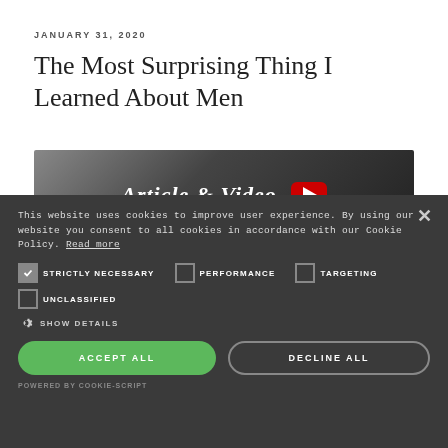JANUARY 31, 2020
The Most Surprising Thing I Learned About Men
[Figure (screenshot): Article & Video thumbnail with YouTube play button on dark bokeh background]
This website uses cookies to improve user experience. By using our website you consent to all cookies in accordance with our Cookie Policy. Read more
STRICTLY NECESSARY  PERFORMANCE  TARGETING  UNCLASSIFIED
SHOW DETAILS
ACCEPT ALL
DECLINE ALL
POWERED BY COOKIE-SCRIPT